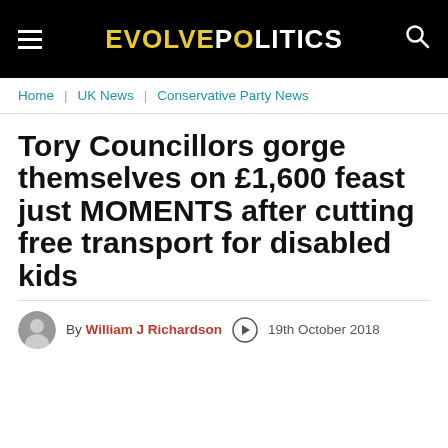EVOLVEPOLITICS
Home | UK News | Conservative Party News
Tory Councillors gorge themselves on £1,600 feast just MOMENTS after cutting free transport for disabled kids
By William J Richardson  19th October 2018